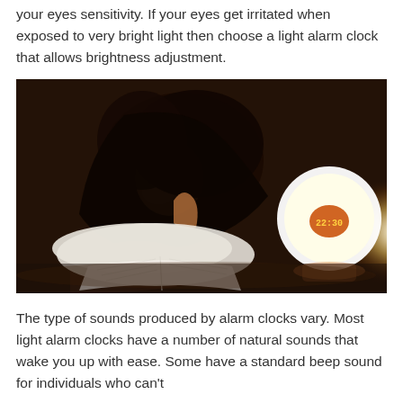your eyes sensitivity. If your eyes get irritated when exposed to very bright light then choose a light alarm clock that allows brightness adjustment.
[Figure (photo): A woman lying in bed reading a book by the glow of a light alarm clock. The room is dark and the clock emits a bright white/warm glow. The clock displays a digital time readout.]
The type of sounds produced by alarm clocks vary. Most light alarm clocks have a number of natural sounds that wake you up with ease. Some have a standard beep sound for individuals who can't